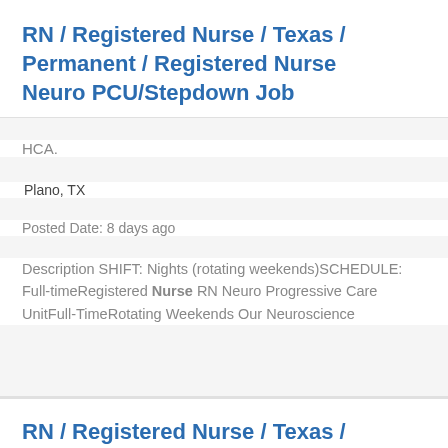RN / Registered Nurse / Texas / Permanent / Registered Nurse Neuro PCU/Stepdown Job
HCA.
Plano, TX
Posted Date: 8 days ago
Description SHIFT: Nights (rotating weekends)SCHEDULE: Full-timeRegistered Nurse RN Neuro Progressive Care UnitFull-TimeRotating Weekends Our Neuroscience
RN / Registered Nurse / Texas / Permanent / Registered Nurse